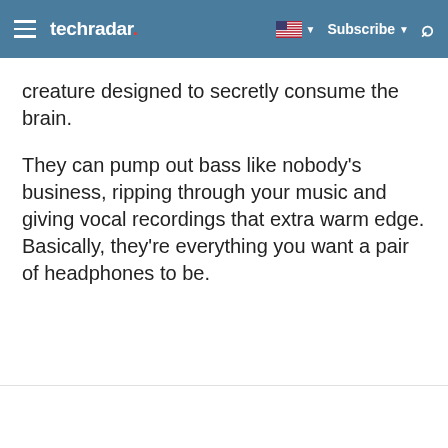techradar
creature designed to secretly consume the brain.
They can pump out bass like nobody's business, ripping through your music and giving vocal recordings that extra warm edge. Basically, they're everything you want a pair of headphones to be.